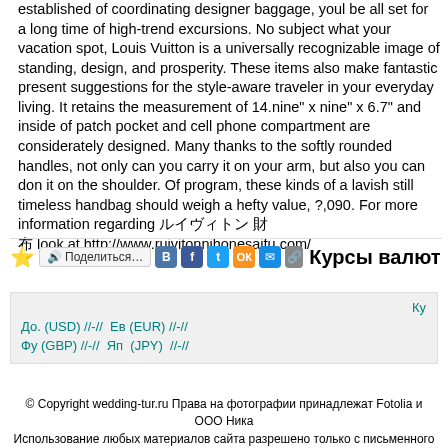established of coordinating designer baggage, youl be all set for a long time of high-trend excursions. No subject what your vacation spot, Louis Vuitton is a universally recognizable image of standing, design, and prosperity. These items also make fantastic present suggestions for the style-aware traveler in your everyday living. It retains the measurement of 14.nine" x nine" x 6.7" and inside of patch pocket and cell phone compartment are considerately designed. Many thanks to the softly rounded handles, not only can you carry it on your arm, but also you can don it on the shoulder. Of program, these kinds of a lavish still timeless handbag should weigh a hefty value, ?,090. For more information regarding ルイヴィトン 財 布 look at http://www.ruivitonnihonesaifu.com/
[Figure (infographic): Social sharing bar with star icon, Поделиться button, social media icons (VK, Facebook, Twitter, OK, Mail, link), and Курсы валют heading]
| Ку |
| --- |
| До. (USD) //-// Ев (EUR) //-// |
| Фу (GBP) //-// Яп (JPY) //-// |
© Copyright wedding-tur.ru Права на фотографии принадлежат Fotolia и ООО Ника Использование любых материалов сайта разрешено только с письменного разрешения владельцев.